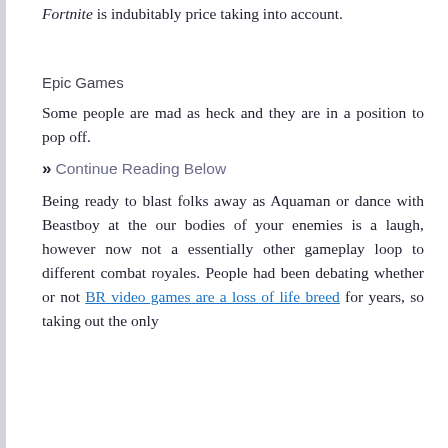Fortnite is indubitably price taking into account.
Epic Games
Some people are mad as heck and they are in a position to pop off.
» Continue Reading Below
Being ready to blast folks away as Aquaman or dance with Beastboy at the our bodies of your enemies is a laugh, however now not a essentially other gameplay loop to different combat royales. People had been debating whether or not BR video games are a loss of life breed for years, so taking out the only